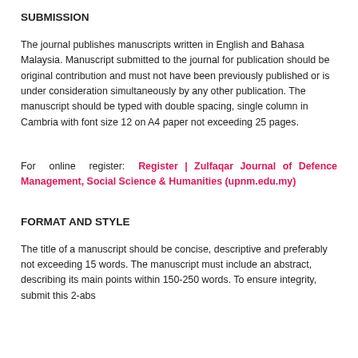SUBMISSION
The journal publishes manuscripts written in English and Bahasa Malaysia. Manuscript submitted to the journal for publication should be original contribution and must not have been previously published or is under consideration simultaneously by any other publication. The manuscript should be typed with double spacing, single column in Cambria with font size 12 on A4 paper not exceeding 25 pages.
For online register: Register | Zulfaqar Journal of Defence Management, Social Science & Humanities (upnm.edu.my)
FORMAT AND STYLE
The title of a manuscript should be concise, descriptive and preferably not exceeding 15 words. The manuscript must include an abstract, describing its main points within 150-250 words. To ensure integrity, submit this 2-abs...